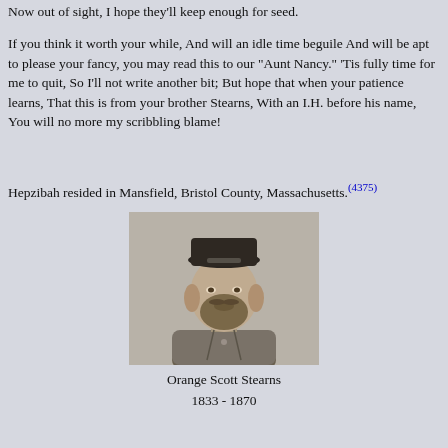Now out of sight, I hope they'll keep enough for seed.
If you think it worth your while, And will an idle time beguile And will be apt to please your fancy, you may read this to our "Aunt Nancy." 'Tis fully time for me to quit, So I'll not write another bit; But hope that when your patience learns, That this is from your brother Stearns, With an I.H. before his name, You will no more my scribbling blame!
Hepzibah resided in Mansfield, Bristol County, Massachusetts.(4375)
[Figure (photo): Black and white portrait photograph of a bearded man wearing a military-style cap and uniform, identified as Orange Scott Stearns.]
Orange Scott Stearns
1833 - 1870